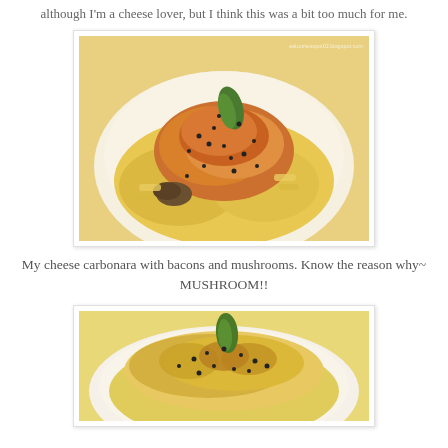although I'm a cheese lover, but I think this was a bit too much for me.
[Figure (photo): A bowl of baked cheese carbonara pasta with mushrooms, bacons, black sesame seeds, and a green herb leaf on top, served in a white bowl. Watermark: eatourteaspot02.blogspot.com]
My cheese carbonara with bacons and mushrooms. Know the reason why~ MUSHROOM!!
[Figure (photo): A plate of baked cheese carbonara pasta with a green herb leaf on top and black sesame seeds, partially visible at the bottom of the page.]